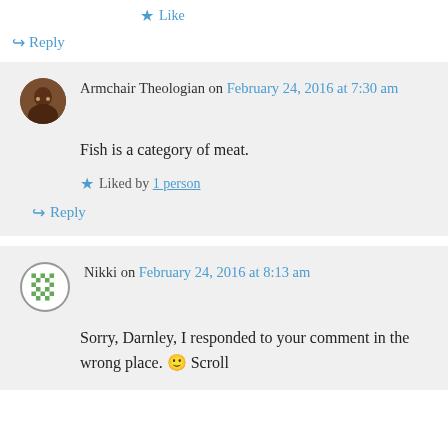★ Like
↪ Reply
Armchair Theologian on February 24, 2016 at 7:30 am
Fish is a category of meat.
★ Liked by 1 person
↪ Reply
Nikki on February 24, 2016 at 8:13 am
Sorry, Darnley, I responded to your comment in the wrong place. 🙂 Scroll